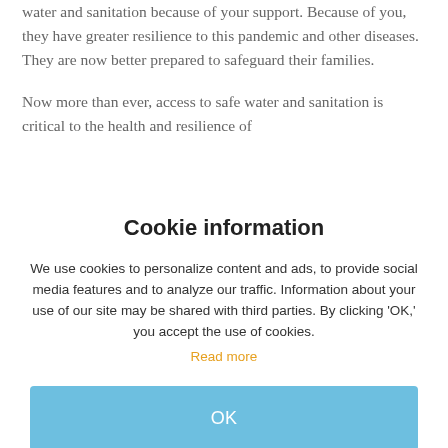water and sanitation because of your support. Because of you, they have greater resilience to this pandemic and other diseases. They are now better prepared to safeguard their families.

Now more than ever, access to safe water and sanitation is critical to the health and resilience of
Cookie information
We use cookies to personalize content and ads, to provide social media features and to analyze our traffic. Information about your use of our site may be shared with third parties. By clicking 'OK,' you accept the use of cookies. Read more